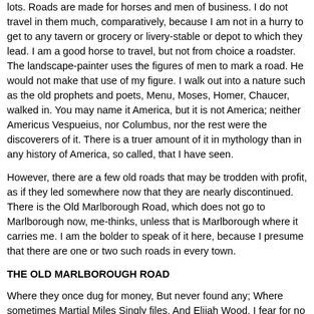lots. Roads are made for horses and men of business. I do not travel in them much, comparatively, because I am not in a hurry to get to any tavern or grocery or livery-stable or depot to which they lead. I am a good horse to travel, but not from choice a roadster. The landscape-painter uses the figures of men to mark a road. He would not make that use of my figure. I walk out into a nature such as the old prophets and poets, Menu, Moses, Homer, Chaucer, walked in. You may name it America, but it is not America; neither Americus Vespueius, nor Columbus, nor the rest were the discoverers of it. There is a truer amount of it in mythology than in any history of America, so called, that I have seen.
However, there are a few old roads that may be trodden with profit, as if they led somewhere now that they are nearly discontinued. There is the Old Marlborough Road, which does not go to Marlborough now, me-thinks, unless that is Marlborough where it carries me. I am the bolder to speak of it here, because I presume that there are one or two such roads in every town.
THE OLD MARLBOROUGH ROAD
Where they once dug for money, But never found any; Where sometimes Martial Miles Singly files, And Elijah Wood, I fear for no good: No other man, Save Elisha Dugan-- O man of wild habits, Partridges and rabbits Who hast no cares Only to set snares, Who liv'st all alone, Close to the bone And where life is sweetest Constantly eatest. When the spring stirs my blood With the instinct to travel, I can get enough gravel On the Old Marlborough Road. Nobody repairs it, For nobody wears it; It is a living way, As the Christians say. Not many there be Who enter therein, Only the guests of the Irishman Quin. What is it, what is it But a direction out there, And the bare possibility Of going somewhere? Great guide-boards of